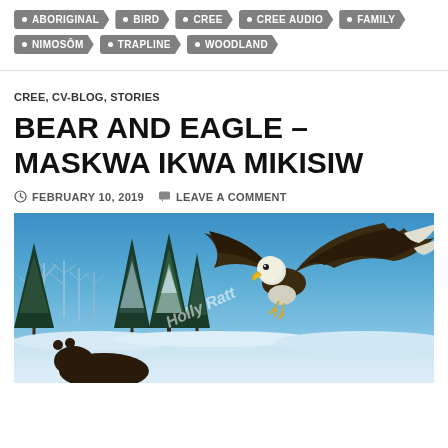ABORIGINAL
BIRD
CREE
CREE AUDIO
FAMILY
NIMOSÔM
TRAPLINE
WOODLAND
CREE, CV-BLOG, STORIES
BEAR AND EAGLE – MASKWA IKWA MIKISIW
FEBRUARY 10, 2019   LEAVE A COMMENT
[Figure (photo): Painting of a bald eagle in flight with wings spread against a winter woodland scene with snow-covered evergreen trees and a blue sky. A watermark reads 'Holly Ratt'.]